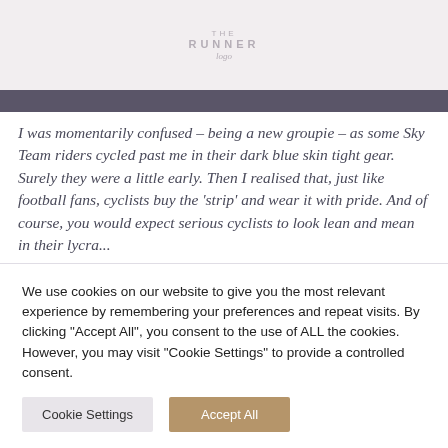THE RUNNER
I was momentarily confused – being a new groupie – as some Sky Team riders cycled past me in their dark blue skin tight gear. Surely they were a little early. Then I realised that, just like football fans, cyclists buy the 'strip' and wear it with pride. And of course, you would expect serious cyclists to look lean and mean in their lycra...
So I relaxed into my chair, tucked into my cheese and crackers, coffee and cookie – seriously they did all begin
We use cookies on our website to give you the most relevant experience by remembering your preferences and repeat visits. By clicking "Accept All", you consent to the use of ALL the cookies. However, you may visit "Cookie Settings" to provide a controlled consent.